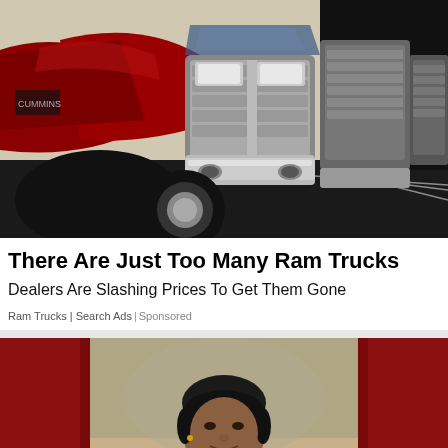[Figure (photo): Row of Ram trucks lined up at a dealership, red truck prominent in the foreground with chrome grilles and bumpers, multiple trucks receding into the background]
There Are Just Too Many Ram Trucks
Dealers Are Slashing Prices To Get Them Gone
Ram Trucks | Search Ads | Sponsored
[Figure (photo): Woman with short dark hair wearing a collared shirt, smiling slightly, with dark red side panels framing the center photo on both left and right sides]